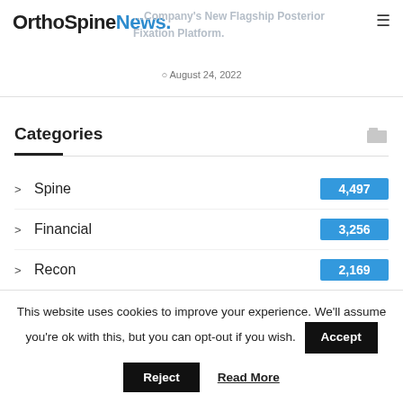OrthoSpineNews.
...Company's New Flagship Posterior Fixation Platform.
August 24, 2022
Categories
Spine 4,497
Financial 3,256
Recon 2,169
Top Stories 1,798
Hospitals 1,753
This website uses cookies to improve your experience. We'll assume you're ok with this, but you can opt-out if you wish. Accept
Reject  Read More